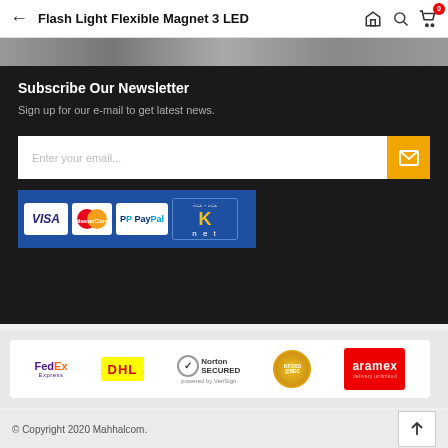Flash Light Flexible Magnet 3 LED
Subscribe Our Newsletter
Sign up for our e-mail to get latest news.
[Figure (screenshot): Email subscription input field with placeholder 'Enter your email...' and a yellow mail button]
[Figure (screenshot): Payment logos strip: VISA, MasterCard, PayPal, K-net on blue background]
[Figure (screenshot): Partner logos: FedEx Express, DHL, Norton Secured, KFOSS@SEC, Aramex delivery unlimited]
© Copyright 2020 Mahhalcom.